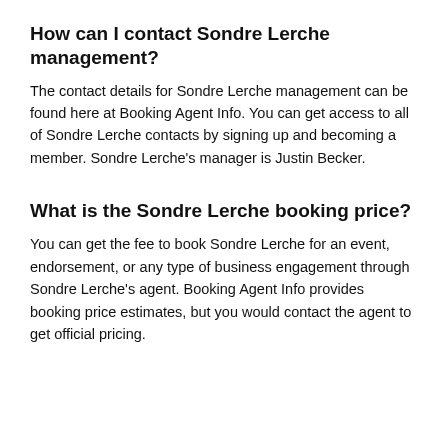How can I contact Sondre Lerche management?
The contact details for Sondre Lerche management can be found here at Booking Agent Info. You can get access to all of Sondre Lerche contacts by signing up and becoming a member. Sondre Lerche's manager is Justin Becker.
What is the Sondre Lerche booking price?
You can get the fee to book Sondre Lerche for an event, endorsement, or any type of business engagement through Sondre Lerche's agent. Booking Agent Info provides booking price estimates, but you would contact the agent to get official pricing.